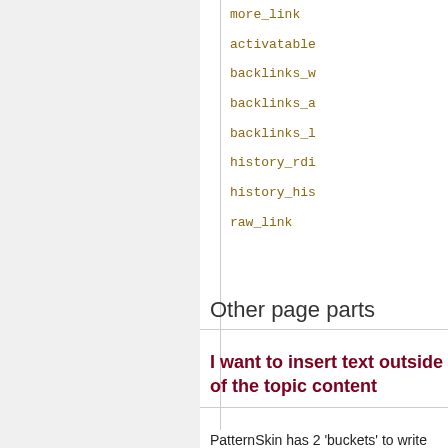more_link
activatable
backlinks_w
backlinks_a
backlinks_l
history_rdi
history_his
raw_link
Other page parts
I want to insert text outside of the topic content
PatternSkin has 2 'buckets' to write additional content to: contentheader and contentfooter, both defined in view.pattern.tmpl. These